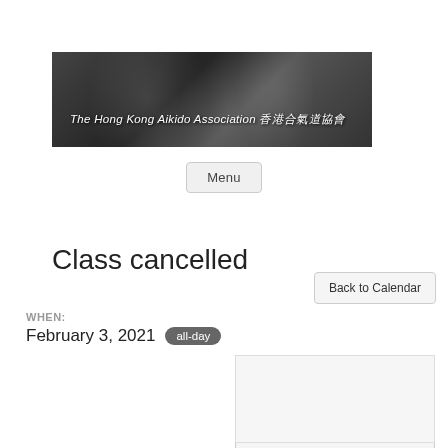[Figure (photo): Banner image of The Hong Kong Aikido Association showing people in aikido uniforms with text overlay: 'The Hong Kong Aikido Association 香港合氣道協會']
Menu
Class cancelled
Back to Calendar
WHEN:
February 3, 2021  all-day
[Figure (map): Embedded map view, blank/loading]
View Full-Size Map